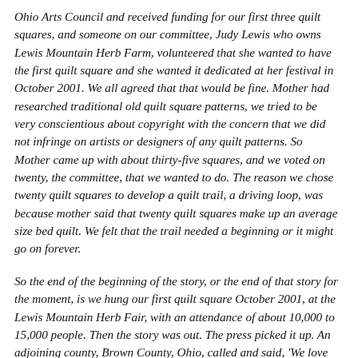Ohio Arts Council and received funding for our first three quilt squares, and someone on our committee, Judy Lewis who owns Lewis Mountain Herb Farm, volunteered that she wanted to have the first quilt square and she wanted it dedicated at her festival in October 2001. We all agreed that that would be fine. Mother had researched traditional old quilt square patterns, we tried to be very conscientious about copyright with the concern that we did not infringe on artists or designers of any quilt patterns. So Mother came up with about thirty-five squares, and we voted on twenty, the committee, that we wanted to do. The reason we chose twenty quilt squares to develop a quilt trail, a driving loop, was because mother said that twenty quilt squares make up an average size bed quilt. We felt that the trail needed a beginning or it might go on forever.
So the end of the beginning of the story, or the end of that story for the moment, is we hung our first quilt square October 2001, at the Lewis Mountain Herb Fair, with an attendance of about 10,000 to 15,000 people. Then the story was out. The press picked it up. An adjoining county, Brown County, Ohio, called and said, 'We love it.